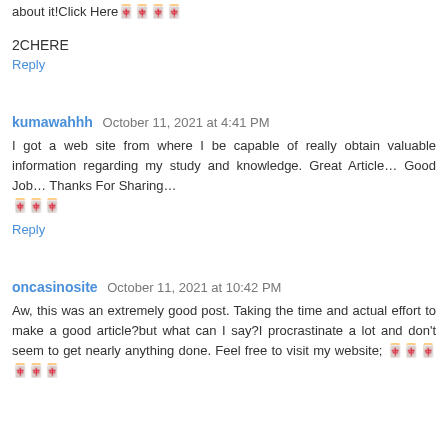about it!Click Here🀄🀄🀄🀄
2CHERE
Reply
kumawahhh  October 11, 2021 at 4:41 PM
I got a web site from where I be capable of really obtain valuable information regarding my study and knowledge. Great Article… Good Job… Thanks For Sharing… 🀄🀄🀄
Reply
oncasinosite  October 11, 2021 at 10:42 PM
Aw, this was an extremely good post. Taking the time and actual effort to make a good article?but what can I say?I procrastinate a lot and don't seem to get nearly anything done. Feel free to visit my website; 🀄🀄🀄🀄🀄🀄